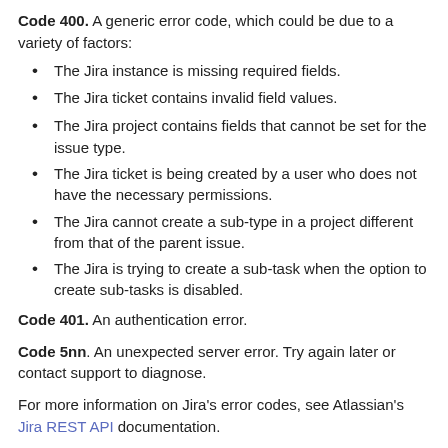Code 400. A generic error code, which could be due to a variety of factors:
The Jira instance is missing required fields.
The Jira ticket contains invalid field values.
The Jira project contains fields that cannot be set for the issue type.
The Jira ticket is being created by a user who does not have the necessary permissions.
The Jira cannot create a sub-type in a project different from that of the parent issue.
The Jira is trying to create a sub-task when the option to create sub-tasks is disabled.
Code 401. An authentication error.
Code 5nn. An unexpected server error. Try again later or contact support to diagnose.
For more information on Jira's error codes, see Atlassian's Jira REST API documentation.